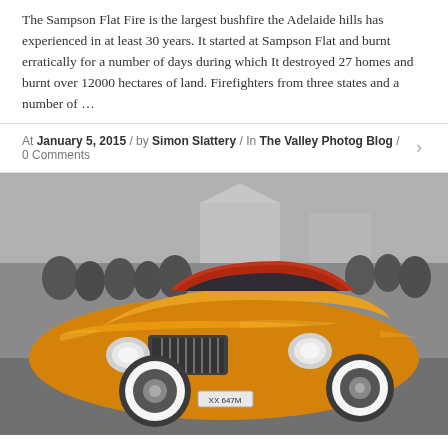The Sampson Flat Fire is the largest bushfire the Adelaide hills has experienced in at least 30 years. It started at Sampson Flat and burnt erratically for a number of days during which It destroyed 27 homes and burnt over 12000 hectares of land. Firefighters from three states and a number of …
At January 5, 2015 / by Simon Slattery / In The Valley Photog Blog / 0 Comments
[Figure (photo): A black and white crowd scene background with a vibrant gold/orange custom hot rod car in the foreground. The car has a sleek retro design with chrome grille, whitewall tires, and a license plate reading XX 647M.]